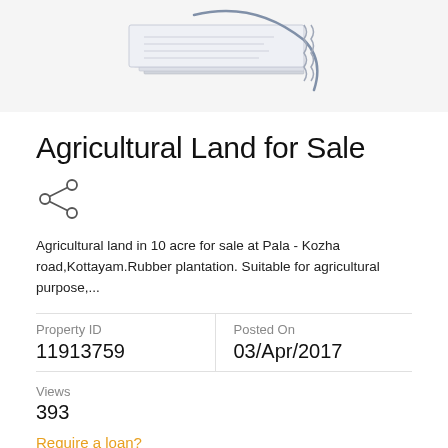[Figure (illustration): Illustration of stacked documents/papers in a stylized graphic, partially visible at the top of the page on a light grey background.]
Agricultural Land for Sale
[Figure (other): Share icon (three connected circles with lines between them)]
Agricultural land in 10 acre for sale at Pala - Kozha road,Kottayam.Rubber plantation. Suitable for agricultural purpose,...
| Property ID | Posted On |
| --- | --- |
| 11913759 | 03/Apr/2017 |
Views
393
Require a loan?